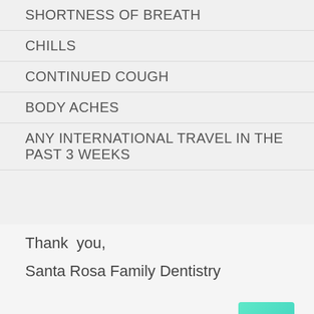SHORTNESS OF BREATH
CHILLS
CONTINUED COUGH
BODY ACHES
ANY INTERNATIONAL TRAVEL IN THE PAST 3 WEEKS
Thank  you,
Santa Rosa Family Dentistry